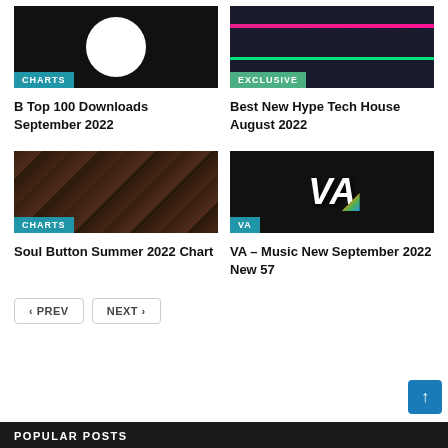[Figure (photo): Card image for B Top 100 Downloads September 2022 with CHARTS badge]
B Top 100 Downloads September 2022
[Figure (photo): Card image for Best New Hype Tech House August 2022 with EXCLUSIVE badge]
Best New Hype Tech House August 2022
[Figure (photo): Card image for Soul Button Summer 2022 Chart with CHARTS badge, dark concert photo]
Soul Button Summer 2022 Chart
[Figure (photo): Card image for VA Music New September 2022 New 57 with VA badge, colorful VA logo]
VA – Music New September 2022 New 57
POPULAR POSTS